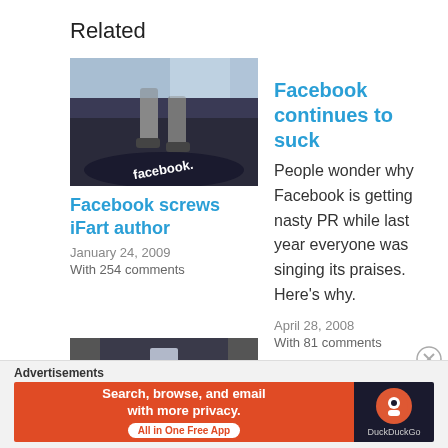Related
[Figure (photo): Photo of a person walking over a Facebook-branded floor mat/treadmill, viewed from behind, showing the Facebook logo on the mat.]
Facebook screws iFart author
January 24, 2009
With 254 comments
Facebook continues to suck
People wonder why Facebook is getting nasty PR while last year everyone was singing its praises. Here's why.
April 28, 2008
With 81 comments
[Figure (photo): Photo of a dimly lit corridor or hallway.]
Advertisements
[Figure (other): DuckDuckGo advertisement banner: 'Search, browse, and email with more privacy. All in One Free App' with DuckDuckGo logo on dark background.]